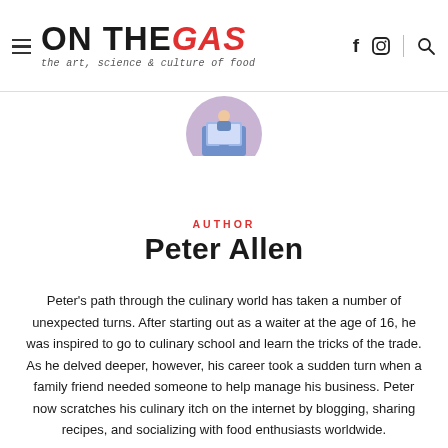ON THE GAS — the art, science & culture of food
[Figure (illustration): Circular avatar illustration showing a person at a desk with a computer screen, purple/pink background]
AUTHOR
Peter Allen
Peter's path through the culinary world has taken a number of unexpected turns. After starting out as a waiter at the age of 16, he was inspired to go to culinary school and learn the tricks of the trade. As he delved deeper, however, his career took a sudden turn when a family friend needed someone to help manage his business. Peter now scratches his culinary itch on the internet by blogging, sharing recipes, and socializing with food enthusiasts worldwide.